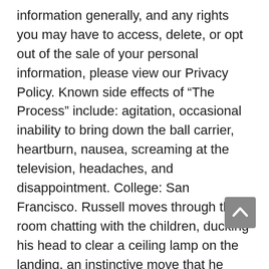information generally, and any rights you may have to access, delete, or opt out of the sale of your personal information, please view our Privacy Policy. Known side effects of “The Process” include: agitation, occasional inability to bring down the ball carrier, heartburn, nausea, screaming at the television, headaches, and disappointment. College: San Francisco. Russell moves through the room chatting with the children, ducking his head to clear a ceiling lamp on the landing, an instinctive move that he would doubtless make if the room were in pitch darkness. Lead based on first principles. I recall we had one big meet with 34 jumpers. He is an asset for us to have. Penny Oleksiak burst from the pool to the podium at the Rio Olympics, her first senior international competition. Of California Berkeley TejinderSingh and Dan Shalmon Coach Dave Arnett 3rd Northwestern Tristen Morales and Jim Lux